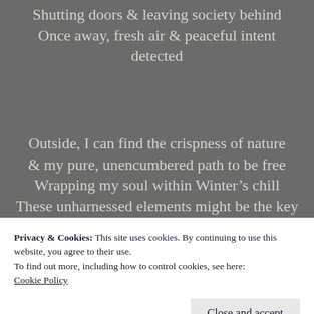Shutting doors & leaving society behind
Once away, fresh air & peaceful intent detected
Outside, I can find the crispness of nature & my pure, unencumbered path to be free
Wrapping my soul within Winter's chill
These unharnessed elements might be the key
Loading...
Privacy & Cookies: This site uses cookies. By continuing to use this website, you agree to their use.
To find out more, including how to control cookies, see here:
Cookie Policy
Close and accept